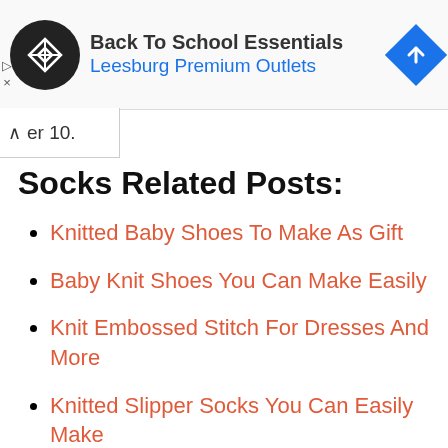[Figure (screenshot): Advertisement banner for 'Back To School Essentials' at Leesburg Premium Outlets with a black circular logo and blue diamond arrow icon]
er 10.
Socks Related Posts:
Knitted Baby Shoes To Make As Gift
Baby Knit Shoes You Can Make Easily
Knit Embossed Stitch For Dresses And More
Knitted Slipper Socks You Can Easily Make